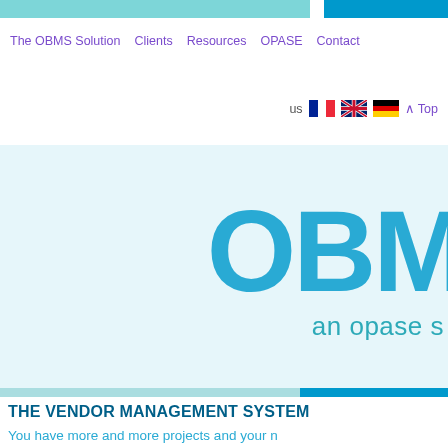The OBMS Solution   Clients   Resources   OPASE   Contact
us  ^ Top
[Figure (logo): OBMS logo with large blue 'OBM' letters and subtitle 'an opase s...' on light blue background]
THE VENDOR MANAGEMENT SYSTEM
You have more and more projects and your n